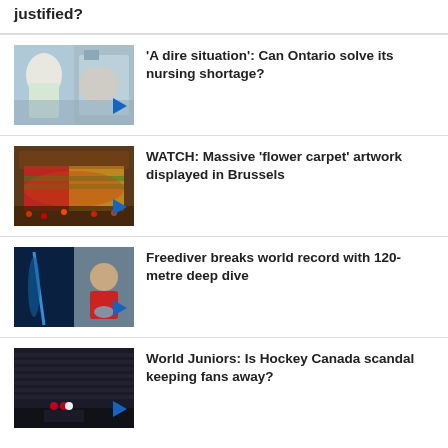justified?
'A dire situation': Can Ontario solve its nursing shortage?
WATCH: Massive 'flower carpet' artwork displayed in Brussels
Freediver breaks world record with 120-metre deep dive
World Juniors: Is Hockey Canada scandal keeping fans away?